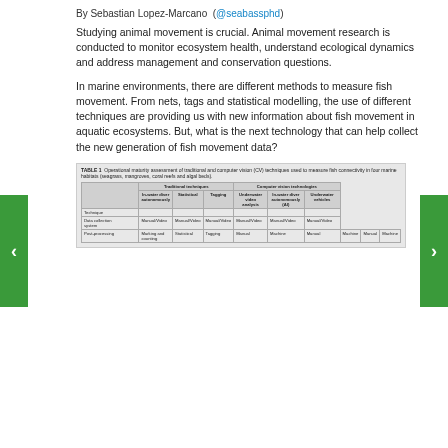By Sebastian Lopez-Marcano (@seabassphd)
Studying animal movement is crucial. Animal movement research is conducted to monitor ecosystem health, understand ecological dynamics and address management and conservation questions.
In marine environments, there are different methods to measure fish movement. From nets, tags and statistical modelling, the use of different techniques are providing us with new information about fish movement in aquatic ecosystems. But, what is the next technology that can help collect the new generation of fish movement data?
| Technique | Traditional techniques: In-water diver autonomously | Traditional techniques: Statistical | Traditional techniques: Tagging | Computer vision technologies: Underwater video analysis | Computer vision technologies: In-water diver autonomously (AI) | Computer vision technologies: Underwater vehicles |
| --- | --- | --- | --- | --- | --- | --- |
| Data collection system | Manual | Passive | Manual | Passive | Manual | Passive | Passive | Passive | Passive | Passive | Manual | Passive |
TABLE 1 Operational maturity assessment of traditional and computer vision (CV) techniques used to measure fish connectivity in four marine habitats (seagrass, mangroves, coral reefs and algal beds).